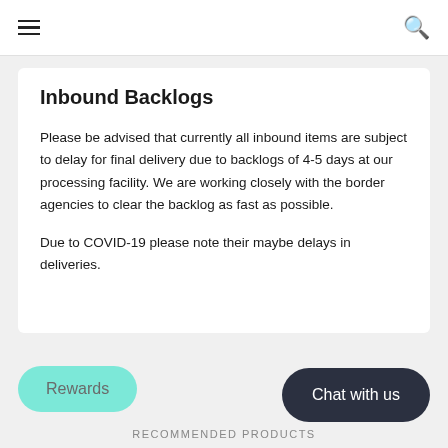≡  🔍
Inbound Backlogs
Please be advised that currently all inbound items are subject to delay for final delivery due to backlogs of 4-5 days at our processing facility. We are working closely with the border agencies to clear the backlog as fast as possible.
Due to COVID-19 please note their maybe delays in deliveries.
Rewards
Chat with us
RECOMMENDED PRODUCTS